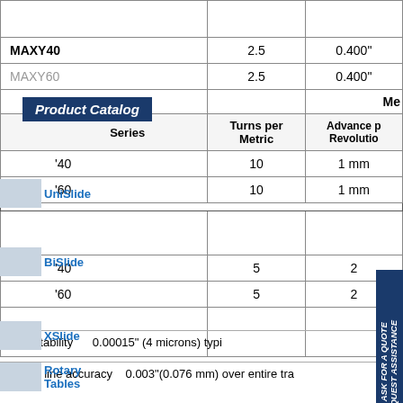| Series | Turns per Metric | Advance per Revolution |
| --- | --- | --- |
| MAXY40 | 2.5 | 0.400" |
| MAXY60 | 2.5 | 0.400" |
| '40 | 10 | 1 mm |
| '60 | 10 | 1 mm |
| '40 | 5 | 2 |
| '60 | 5 | 2 |
Repeatability  0.00015" (4 microns) typi...
st line accuracy  0.003"(0.076 mm) over entire tra...